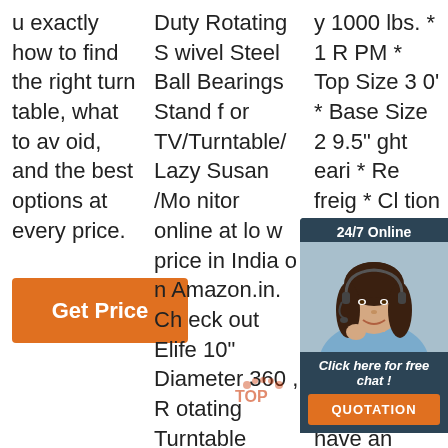u exactly how to find the right turntable, what to avoid, and the best options at every price.
Get Price
Duty Rotating Swivel Steel Ball Bearings Stand for TV/Turntable/Lazy Susan /Monitor online at low price in India on Amazon.in. Check out Elife 10" Diameter 360 , Rotating Turntable Heavy Duty Rotating Swivel Steel Ball Bearings Stand for TV/Turntable/Lazy Susan /Monitor reviews
y 1000 lbs. * 1 RPM * Top Size 30' * Base Size 29.5" * Weight Bearings * Reduces freight * Circulation * Circulation below with all turntables, the height, width, and distribution of weight all have an impact on the
[Figure (photo): Customer service chat widget showing a female agent with headset, '24/7 Online' label, 'Click here for free chat!' text, and an orange 'QUOTATION' button on a dark blue/teal background]